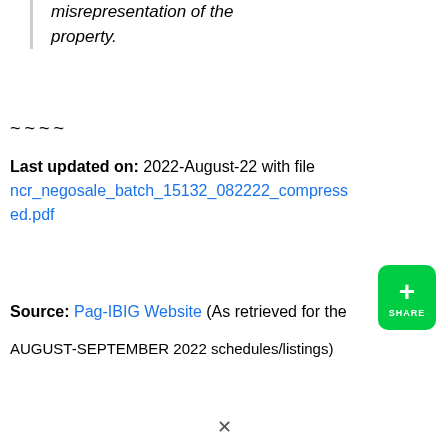misrepresentation of the property.
~~~~
Last updated on: 2022-August-22 with file ncr_negosale_batch_15132_082222_compressed.pdf
Source: Pag-IBIG Website (As retrieved for the AUGUST-SEPTEMBER 2022 schedules/listings)